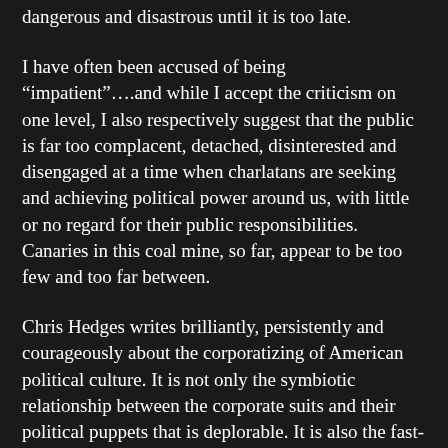dangerous and disastrous until it is too late.
I have often been accused of being “impatient”….and while I accept the criticism on one level, I also respectively suggest that the public is far too complacent, detached, disinterested and disengaged at a time when charlatans are seeking and achieving political power around us, with little or no regard for their public responsibilities. Canaries in this coal mine, so far, appear to be too few and too far between.
Chris Hedges writes brilliantly, persistently and courageously about the corporatizing of American political culture. It is not only the symbiotic relationship between the corporate suits and their political puppets that is deplorable. It is also the fast-feeding of the most glib, distorted, manipulated and outright counter to the public good “information” that gushes from the official sources that one has to wonder why anyone, yes anyone, would accept the job of media spokesperson. Surrendering to the inevitable mental castration that